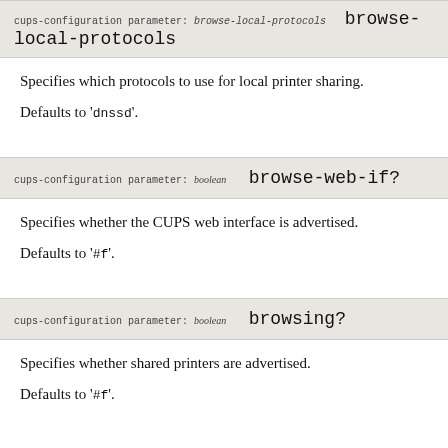cups-configuration parameter: browse-local-protocols    browse-local-protocols
Specifies which protocols to use for local printer sharing.
Defaults to 'dnssd'.
cups-configuration parameter: boolean    browse-web-if?
Specifies whether the CUPS web interface is advertised.
Defaults to '#f'.
cups-configuration parameter: boolean    browsing?
Specifies whether shared printers are advertised.
Defaults to '#f'.